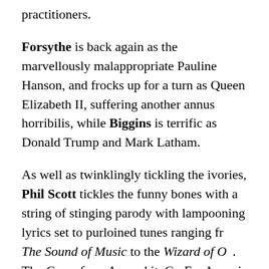practitioners.
Forsythe is back again as the marvellously malappropriate Pauline Hanson, and frocks up for a turn as Queen Elizabeth II, suffering another annus horribilis, while Biggins is terrific as Donald Trump and Mark Latham.
As well as twinklingly tickling the ivories, Phil Scott tickles the funny bones with a string of stinging parody with lampooning lyrics set to purloined tunes ranging from The Sound of Music to the Wizard of O… The Come from Away skit, Go Far Away is